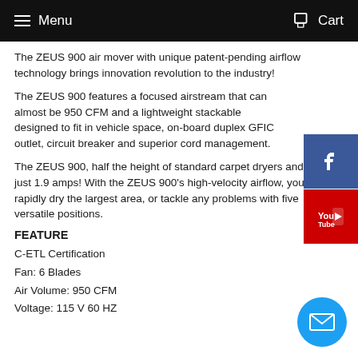Menu   Cart
The ZEUS 900 air mover with unique patent-pending airflow technology brings innovation revolution to the industry!
The ZEUS 900 features a focused airstream that can almost be 950 CFM and a lightweight stackable designed to fit in vehicle space, on-board duplex GFIC outlet, circuit breaker and superior cord management.
The ZEUS 900, half the height of standard carpet dryers and draws just 1.9 amps! With the ZEUS 900's high-velocity airflow, you can rapidly dry the largest area, or tackle any problems with five versatile positions.
FEATURE
C-ETL Certification
Fan: 6 Blades
Air Volume: 950 CFM
Voltage: 115 V 60 HZ